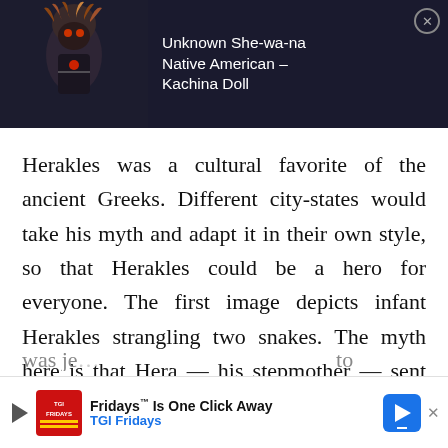[Figure (screenshot): Video thumbnail showing a Kachina Doll figure on a dark background with a play button, titled 'Unknown She-wa-na Native American – Kachina Doll']
Herakles was a cultural favorite of the ancient Greeks. Different city-states would take his myth and adapt it in their own style, so that Herakles could be a hero for everyone. The first image depicts infant Herakles strangling two snakes. The myth here is that Hera — his stepmother — sent the two snakes to kill Herakles because she
[Figure (screenshot): Advertisement banner: 'Fridays™ Is One Click Away – TGI Fridays' with play icon, TGI Fridays logo, and a blue arrow navigation icon]